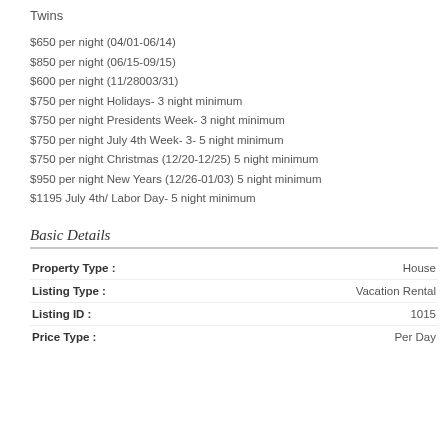Twins
$650 per night (04/01-06/14)
$850 per night (06/15-09/15)
$600 per night (11/28003/31)
$750 per night Holidays- 3 night minimum
$750 per night Presidents Week- 3 night minimum
$750 per night July 4th Week- 3- 5 night minimum
$750 per night Christmas (12/20-12/25) 5 night minimum
$950 per night New Years (12/26-01/03) 5 night minimum
$1195 July 4th/ Labor Day- 5 night minimum
Basic Details
|  |  |
| --- | --- |
| Property Type : | House |
| Listing Type : | Vacation Rental |
| Listing ID : | 1015 |
| Price Type : | Per Day |